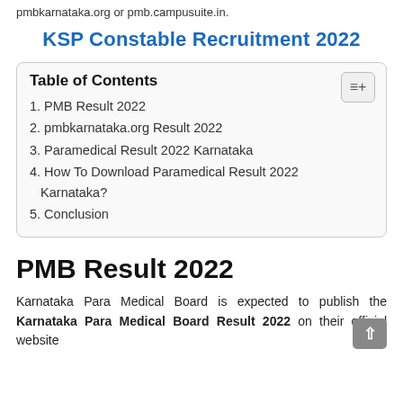pmbkarnataka.org or pmb.campusuite.in.
KSP Constable Recruitment 2022
| Table of Contents |
| --- |
| 1. PMB Result 2022 |
| 2. pmbkarnataka.org Result 2022 |
| 3. Paramedical Result 2022 Karnataka |
| 4. How To Download Paramedical Result 2022 Karnataka? |
| 5. Conclusion |
PMB Result 2022
Karnataka Para Medical Board is expected to publish the Karnataka Para Medical Board Result 2022 on their official website